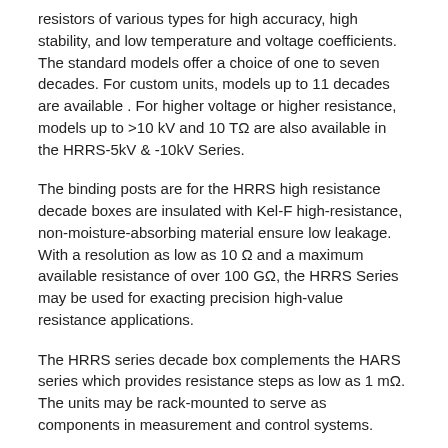resistors of various types for high accuracy, high stability, and low temperature and voltage coefficients. The standard models offer a choice of one to seven decades. For custom units, models up to 11 decades are available . For higher voltage or higher resistance, models up to >10 kV and 10 TΩ are also available in the HRRS-5kV & -10kV Series.
The binding posts are for the HRRS high resistance decade boxes are insulated with Kel-F high-resistance, non-moisture-absorbing material ensure low leakage. With a resolution as low as 10 Ω and a maximum available resistance of over 100 GΩ, the HRRS Series may be used for exacting precision high-value resistance applications.
The HRRS series decade box complements the HARS series which provides resistance steps as low as 1 mΩ. The units may be rack-mounted to serve as components in measurement and control systems.
HRRS High Resistance Decade Box Applications